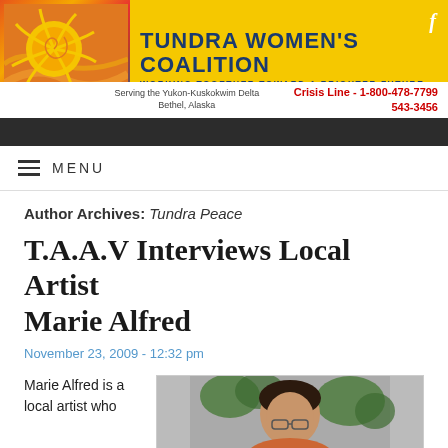[Figure (logo): Tundra Women's Coalition website header banner with sun artwork on left, organization name and tagline in center, Facebook icon top right, serving text and crisis line below]
MENU
Author Archives: Tundra Peace
T.A.A.V Interviews Local Artist Marie Alfred
November 23, 2009 - 12:32 pm
Marie Alfred is a local artist who
[Figure (photo): Photo of Marie Alfred, a woman wearing glasses, with plants in background]